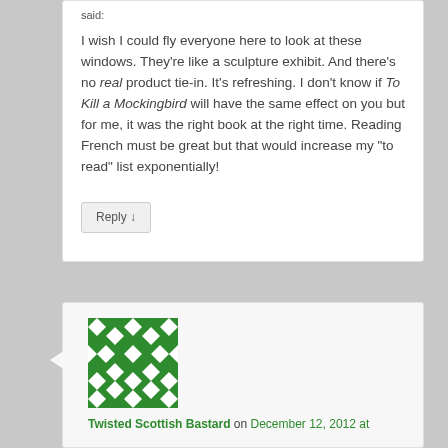said:
I wish I could fly everyone here to look at these windows. They’re like a sculpture exhibit. And there’s no real product tie-in. It’s refreshing. I don’t know if To Kill a Mockingbird will have the same effect on you but for me, it was the right book at the right time. Reading French must be great but that would increase my “to read” list exponentially!
Reply ↓
[Figure (illustration): Green and white geometric avatar icon with diamond/cross pattern]
Twisted Scottish Bastard on December 12, 2012 at